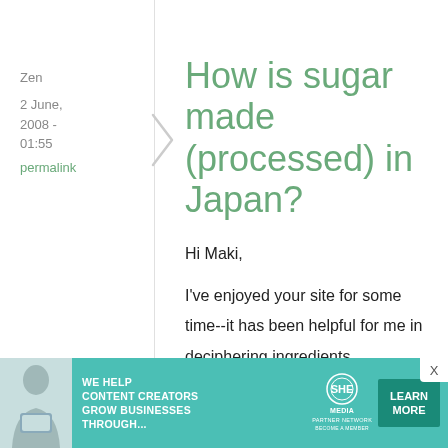Zen
2 June, 2008 - 01:55
permalink
How is sugar made (processed) in Japan?
Hi Maki,

I've enjoyed your site for some time--it has been helpful for me in deciphering ingredients
[Figure (infographic): SHE Media partner network advertisement banner with person photo, text 'We help content creators grow businesses through...', SHE logo, and Learn More button]